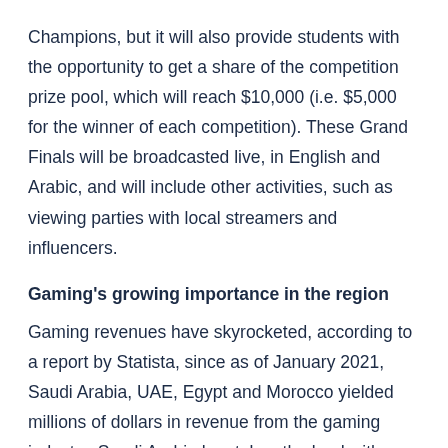Champions, but it will also provide students with the opportunity to get a share of the competition prize pool, which will reach $10,000 (i.e. $5,000 for the winner of each competition). These Grand Finals will be broadcasted live, in English and Arabic, and will include other activities, such as viewing parties with local streamers and influencers.
Gaming's growing importance in the region
Gaming revenues have skyrocketed, according to a report by Statista, since as of January 2021, Saudi Arabia, UAE, Egypt and Morocco yielded millions of dollars in revenue from the gaming industry. Saudi Arabia has taken the lead with over USD 680 million, followed by UAE with USD 280 million, in